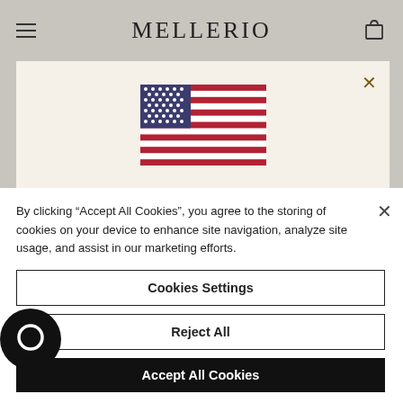MELLERIO
[Figure (screenshot): Modal dialog showing a US flag and text 'MELLERIO SHIPS TO UNITED STATES' on a cream background]
By clicking “Accept All Cookies”, you agree to the storing of cookies on your device to enhance site navigation, analyze site usage, and assist in our marketing efforts.
Cookies Settings
Reject All
Accept All Cookies